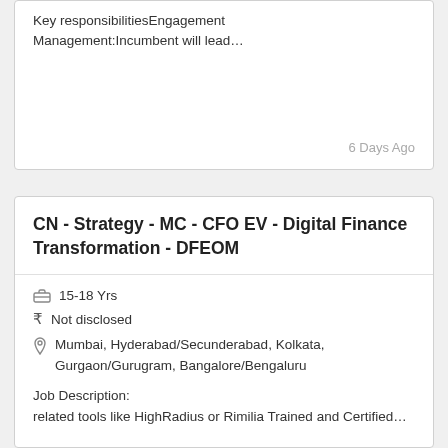Key responsibilitiesEngagement Management:Incumbent will lead…
6 Days Ago
CN - Strategy - MC - CFO EV - Digital Finance Transformation - DFEOM
15-18 Yrs
Not disclosed
Mumbai, Hyderabad/Secunderabad, Kolkata, Gurgaon/Gurugram, Bangalore/Bengaluru
Job Description: related tools like HighRadius or Rimilia Trained and Certified…